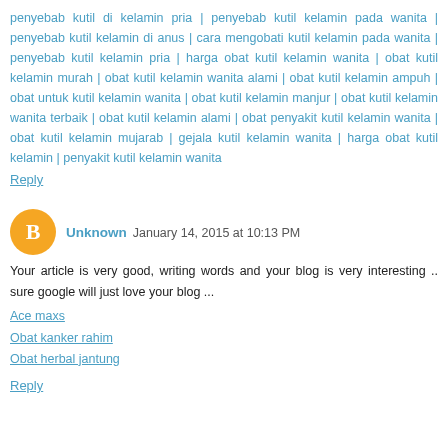penyebab kutil di kelamin pria | penyebab kutil kelamin pada wanita | penyebab kutil kelamin di anus | cara mengobati kutil kelamin pada wanita | penyebab kutil kelamin pria | harga obat kutil kelamin wanita | obat kutil kelamin murah | obat kutil kelamin wanita alami | obat kutil kelamin ampuh | obat untuk kutil kelamin wanita | obat kutil kelamin manjur | obat kutil kelamin wanita terbaik | obat kutil kelamin alami | obat penyakit kutil kelamin wanita | obat kutil kelamin mujarab | gejala kutil kelamin wanita | harga obat kutil kelamin | penyakit kutil kelamin wanita
Reply
Unknown January 14, 2015 at 10:13 PM
Your article is very good, writing words and your blog is very interesting .. sure google will just love your blog ...
Ace maxs
Obat kanker rahim
Obat herbal jantung
Reply